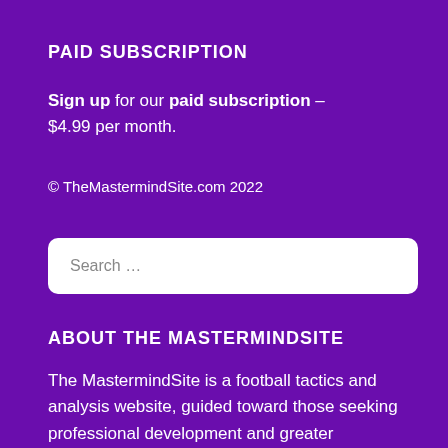PAID SUBSCRIPTION
Sign up for our paid subscription – $4.99 per month.
© TheMastermindSite.com 2022
[Figure (other): Search input field with placeholder text 'Search …']
ABOUT THE MASTERMINDSITE
The MastermindSite is a football tactics and analysis website, guided toward those seeking professional development and greater knowledge of the game, to take their craft and footballing IQ to the next level.